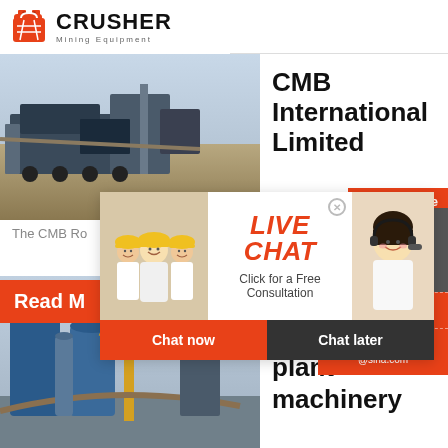[Figure (logo): Crusher Mining Equipment logo with red shopping bag icon and bold black CRUSHER text]
[Figure (photo): Aerial view of a mobile crushing plant at a mining site with heavy machinery]
CMB International Limited
24Hrs Online
[Figure (infographic): Live chat popup overlay showing two workers in hard hats and a female customer service operator, with LIVE CHAT text and Click for a Free Consultation, Chat now and Chat later buttons]
The CMB Ro...
Read M...
Need questions & suggestion?
Chat Now
Enquiry
limingjlmofen@sina.com
[Figure (photo): Industrial crushing plant with blue silos, conveyor belts and yellow crane structures]
Used Crushing plant machinery